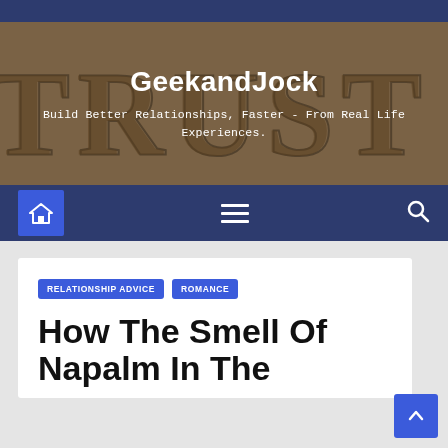[Figure (screenshot): Website header banner with 'TRUST' text in background (dark brownish-tan texture) and white site title and tagline overlaid on top]
GeekandJock
Build Better Relationships, Faster - From Real Life Experiences.
[Figure (screenshot): Navigation bar with dark navy background showing home button (blue square with house icon), hamburger menu icon (three lines), and search icon]
RELATIONSHIP ADVICE
ROMANCE
How The Smell Of Napalm In The